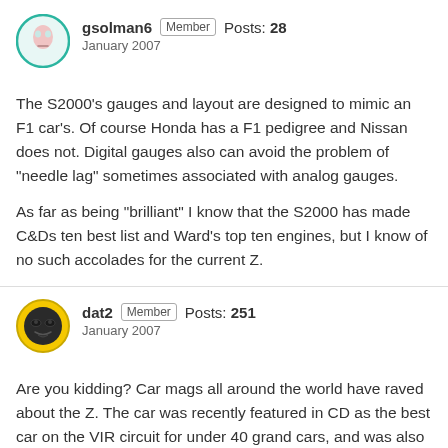gsolman6 Member Posts: 28 January 2007
The S2000's gauges and layout are designed to mimic an F1 car's. Of course Honda has a F1 pedigree and Nissan does not. Digital gauges also can avoid the problem of "needle lag" sometimes associated with analog gauges.
As far as being "brilliant" I know that the S2000 has made C&Ds ten best list and Ward's top ten engines, but I know of no such accolades for the current Z.
dat2 Member Posts: 251 January 2007
Are you kidding? Car mags all around the world have raved about the Z. The car was recently featured in CD as the best car on the VIR circuit for under 40 grand cars, and was also the pick in Automobile for all performance cars under 40 grand. The VQ motor has been on the Wards engine list for at least